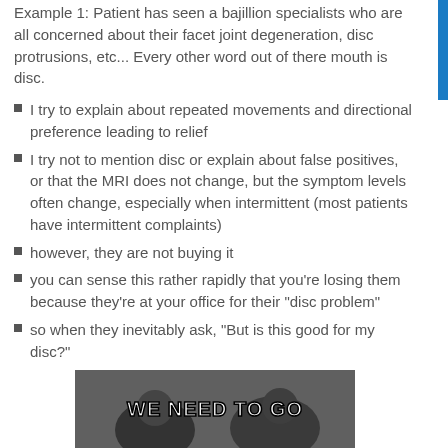Example 1: Patient has seen a bajillion specialists who are all concerned about their facet joint degeneration, disc protrusions, etc... Every other word out of there mouth is disc.
I try to explain about repeated movements and directional preference leading to relief
I try not to mention disc or explain about false positives, or that the MRI does not change, but the symptom levels often change, especially when intermittent (most patients have intermittent complaints)
however, they are not buying it
you can sense this rather rapidly that you're losing them because they're at your office for their "disc problem"
so when they inevitably ask, "But is this good for my disc?"
[Figure (photo): Meme image with text 'WE NEED TO GO' overlaid on a dark photo of people]